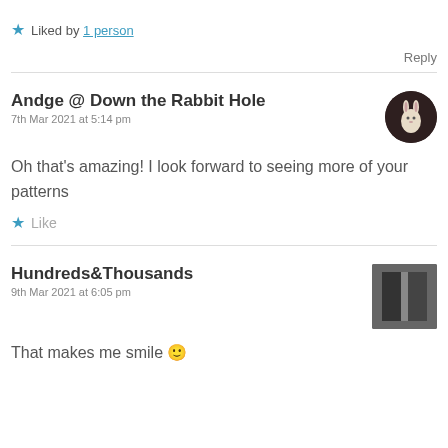★ Liked by 1 person
Reply
Andge @ Down the Rabbit Hole
7th Mar 2021 at 5:14 pm
Oh that's amazing! I look forward to seeing more of your patterns
★ Like
Hundreds&Thousands
9th Mar 2021 at 6:05 pm
That makes me smile 🙂